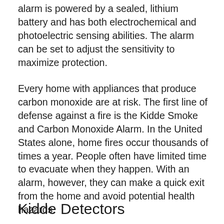alarm is powered by a sealed, lithium battery and has both electrochemical and photoelectric sensing abilities. The alarm can be set to adjust the sensitivity to maximize protection.
Every home with appliances that produce carbon monoxide are at risk. The first line of defense against a fire is the Kidde Smoke and Carbon Monoxide Alarm. In the United States alone, home fires occur thousands of times a year. People often have limited time to evacuate when they happen. With an alarm, however, they can make a quick exit from the home and avoid potential health hazards.
Kidde Detectors